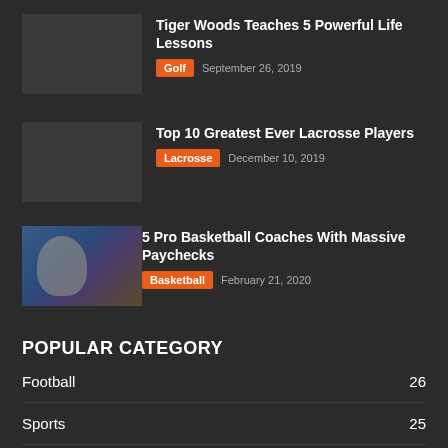Tiger Woods Teaches 5 Powerful Life Lessons
Golf  September 26, 2019
Top 10 Greatest Ever Lacrosse Players
Lacrosse  December 10, 2019
[Figure (photo): Basketball coach on sideline with players in background]
5 Pro Basketball Coaches With Massive Paychecks
Basketball  February 21, 2020
POPULAR CATEGORY
Football  26
Sports  25
Basketball  25